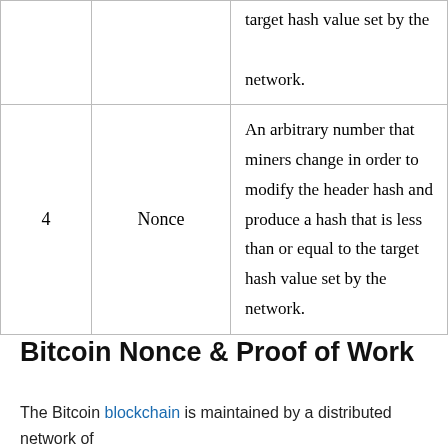| # | Term | Description |
| --- | --- | --- |
|  |  | target hash value set by the network. |
| 4 | Nonce | An arbitrary number that miners change in order to modify the header hash and produce a hash that is less than or equal to the target hash value set by the network. |
Bitcoin Nonce & Proof of Work
The Bitcoin blockchain is maintained by a distributed network of